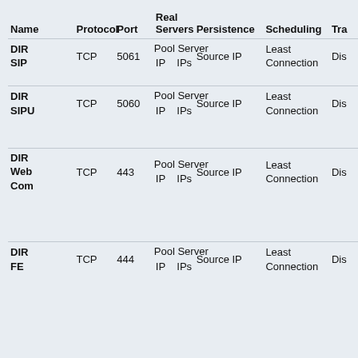| Name | Protocol | Port | VIP | Real Servers | Persistence | Scheduling | Tra |
| --- | --- | --- | --- | --- | --- | --- | --- |
| DIR SIP | TCP | 5061 | Pool IP | Server IPs | Source IP | Least Connection | Dis |
| DIR SIPU | TCP | 5060 | Pool IP | Server IPs | Source IP | Least Connection | Dis |
| DIR Web Com | TCP | 443 | Pool IP | Server IPs | Source IP | Least Connection | Dis |
| DIR FE | TCP | 444 | Pool IP | Server IPs | Source IP | Least Connection | Dis |